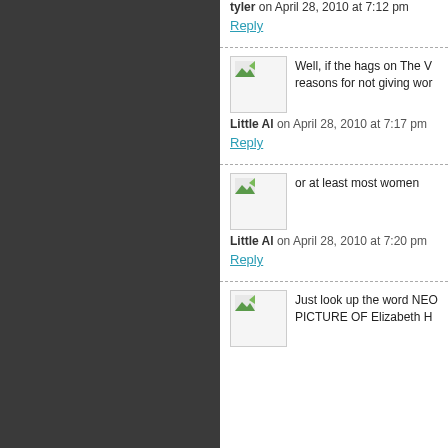tyler on April 28, 2010 at 7:12 pm
Reply
Well, if the hags on The V... reasons for not giving wor...
Little Al on April 28, 2010 at 7:17 pm
Reply
or at least most women
Little Al on April 28, 2010 at 7:20 pm
Reply
Just look up the word NEO... PICTURE OF Elizabeth H...